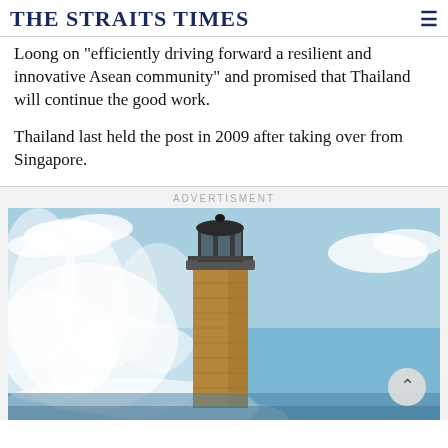THE STRAITS TIMES
Loong on "efficiently driving forward a resilient and innovative Asean community" and promised that Thailand will continue the good work.
Thailand last held the post in 2009 after taking over from Singapore.
[Figure (photo): Advertisement banner showing a lighthouse being struck by large ocean waves against a blue sky.]